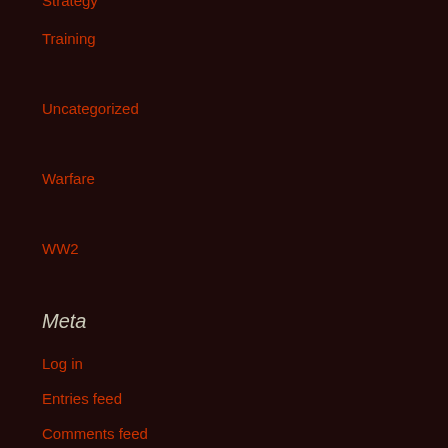Strategy
Training
Uncategorized
Warfare
WW2
Meta
Log in
Entries feed
Comments feed
WordPress.org
Subscribe to Blog via